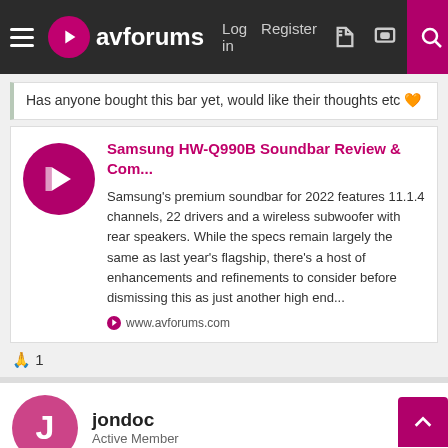avforums — Log in | Register
Has anyone bought this bar yet, would like their thoughts etc 🧡
[Figure (screenshot): avforums logo circle with play button icon]
Samsung HW-Q990B Soundbar Review & Com...
Samsung's premium soundbar for 2022 features 11.1.4 channels, 22 drivers and a wireless subwoofer with rear speakers. While the specs remain largely the same as last year's flagship, there's a host of enhancements and refinements to consider before dismissing this as just another high end...
www.avforums.com
🙏 1
jondoc
Active Member
Jun 24, 2022
#84
KnucklezZ said:
How bad is the music problem and bass? I would like this soundbar